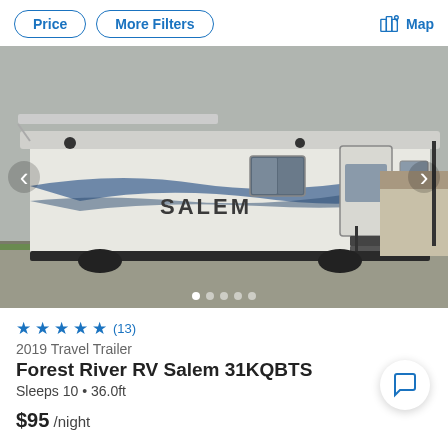Price  More Filters  Map
[Figure (photo): Photo of a white Salem travel trailer RV with awning extended, parked on a driveway. The RV has blue wave graphics and 'SALEM' lettering on the side. Entry stairs are visible. Image carousel with navigation arrows and 5 dot indicators at bottom.]
★★★★★ (13)
2019 Travel Trailer
Forest River RV Salem 31KQBTS
Sleeps 10 • 36.0ft
$95 /night